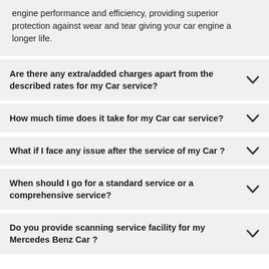engine performance and efficiency, providing superior protection against wear and tear giving your car engine a longer life.
Are there any extra/added charges apart from the described rates for my Car service?
How much time does it take for my Car car service?
What if I face any issue after the service of my Car ?
When should I go for a standard service or a comprehensive service?
Do you provide scanning service facility for my Mercedes Benz Car ?